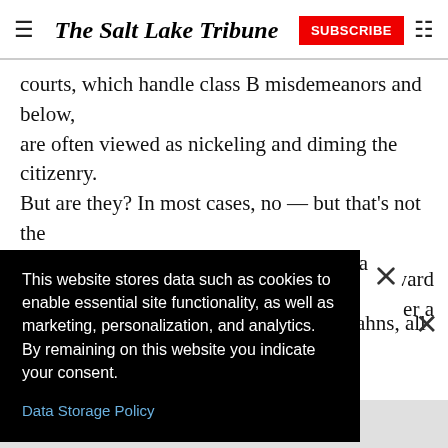The Salt Lake Tribune
courts, which handle class B misdemeanors and below, are often viewed as nickeling and diming the citizenry. But are they? In most cases, no — but that’s not the perception. Whether they’re making extra money off fines and fees or not, to build trust in Utahns, all justice [courts should move toward] [under a] [certain city]
This website stores data such as cookies to enable essential site functionality, as well as marketing, personalization, and analytics. By remaining on this website you indicate your consent.
Data Storage Policy